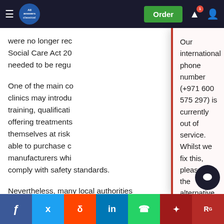All Answers — navigation bar with Order button
were no longer rec… Social Care Act 20… needed to be regu…
One of the main co… clinics may introdu… training, qualificati… offering treatments… themselves at risk… able to purchase c… manufacturers whi… comply with safety standards.
Our international phone number (+971 600 575 297) is currently out of service. Whilst we fix this, please use the alternative phone numbers provided on the contact page, message through your customer account or click the WhatsApp button from your mobile (Monday – Friday 9am – 5pm, Saturday 10am – 6pm UK time).
August 20, 2022
Nevertheless, many local authorities supported by th… Laser Protection Advisors (LPA) and Expert Medical Practitione… licenses. This cover… tain high